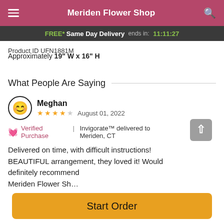Meriden Flower Shop
FREE* Same Day Delivery ends in: 11:11:27
Product ID UFN1881M
Approximately 19" W x 16" H
What People Are Saying
Meghan
★★★★☆  August 01, 2022
🌹 Verified Purchase | Invigorate™ delivered to Meriden, CT
Delivered on time, with difficult instructions! BEAUTIFUL arrangement, they loved it! Would definitely recommend Meriden Flower Sh…
Start Order